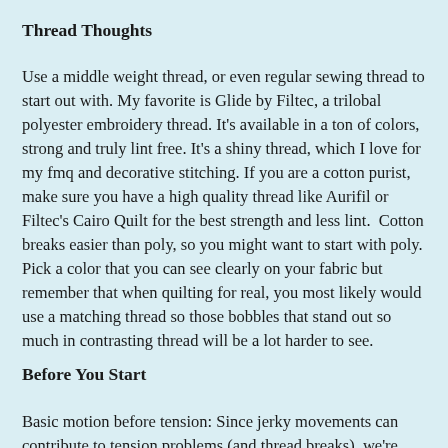Thread Thoughts
Use a middle weight thread, or even regular sewing thread to start out with. My favorite is Glide by Filtec, a trilobal polyester embroidery thread. It's available in a ton of colors, strong and truly lint free. It's a shiny thread, which I love for my fmq and decorative stitching. If you are a cotton purist, make sure you have a high quality thread like Aurifil or Filtec's Cairo Quilt for the best strength and less lint.  Cotton breaks easier than poly, so you might want to start with poly. Pick a color that you can see clearly on your fabric but remember that when quilting for real, you most likely would use a matching thread so those bobbles that stand out so much in contrasting thread will be a lot harder to see.
Before You Start
Basic motion before tension: Since jerky movements can contribute to tension problems (and thread breaks), we're going to start with basic motion before perfecting the tension. If you have never done any (or very little) free motion quilting, do everything below except take the thread out of the machine!